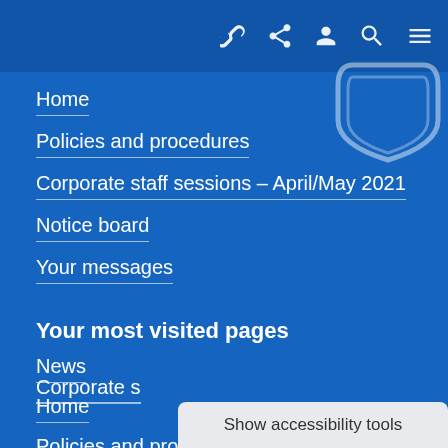Navigation toolbar with icons: link, share, user, search, menu
Home
Policies and procedures
Corporate staff sessions – April/May 2021
Notice board
Your messages
Your most visited pages
News
Home
Policies and procedures
Corporate s
Show accessibility tools